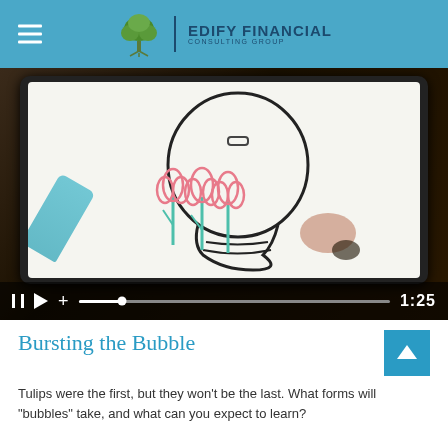Edify Financial Consulting Group
[Figure (photo): Video screenshot showing a tablet device with a hand drawing tulips inside a light bulb outline, with video playback controls showing pause/play buttons, a progress bar, and a timestamp of 1:25]
Bursting the Bubble
Tulips were the first, but they won't be the last. What forms will "bubbles" take, and what can you expect to learn?